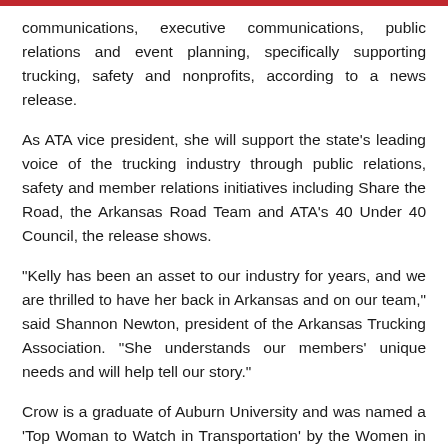communications, executive communications, public relations and event planning, specifically supporting trucking, safety and nonprofits, according to a news release.
As ATA vice president, she will support the state's leading voice of the trucking industry through public relations, safety and member relations initiatives including Share the Road, the Arkansas Road Team and ATA's 40 Under 40 Council, the release shows.
“Kelly has been an asset to our industry for years, and we are thrilled to have her back in Arkansas and on our team,” said Shannon Newton, president of the Arkansas Trucking Association. “She understands our members’ unique needs and will help tell our story.”
Crow is a graduate of Auburn University and was named a ‘Top Woman to Watch in Transportation’ by the Women in Trucking Association in 2019. She and her husband, Will, reside in Little Rock with their 16-month-old son, Thomas.